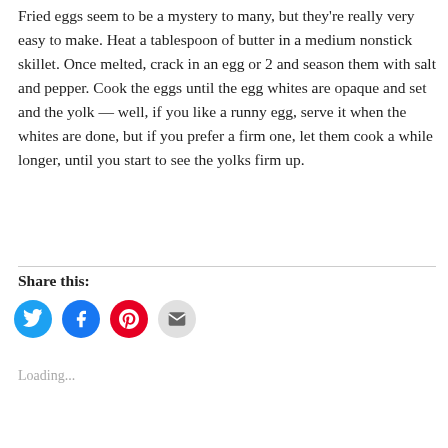Fried eggs seem to be a mystery to many, but they're really very easy to make. Heat a tablespoon of butter in a medium nonstick skillet. Once melted, crack in an egg or 2 and season them with salt and pepper. Cook the eggs until the egg whites are opaque and set and the yolk — well, if you like a runny egg, serve it when the whites are done, but if you prefer a firm one, let them cook a while longer, until you start to see the yolks firm up.
Share this:
[Figure (infographic): Social sharing icons: Twitter (blue), Facebook (blue), Pinterest (red), Email (grey)]
Loading...